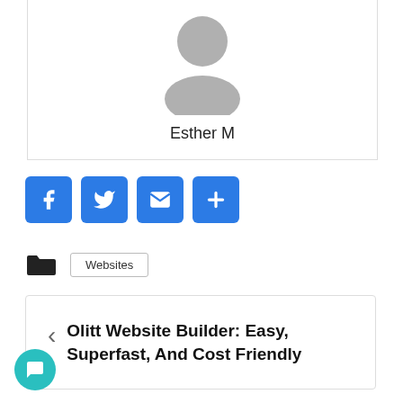[Figure (illustration): Gray placeholder avatar silhouette of a person (head and shoulders) on white background]
Esther M
[Figure (infographic): Four social share buttons: Facebook (f), Twitter (bird), Email (envelope), Share (+) — each a blue rounded square icon]
Websites
Olitt Website Builder: Easy, Superfast, And Cost Friendly